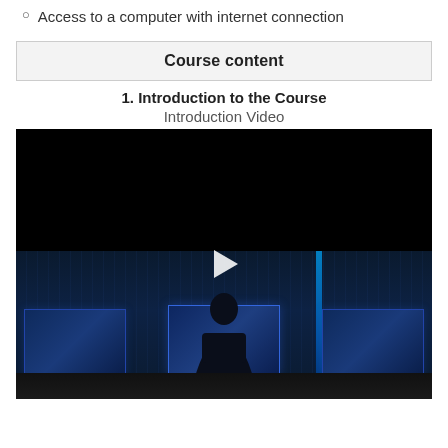Access to a computer with internet connection
| Course content |
| --- |
1. Introduction to the Course
Introduction Video
[Figure (screenshot): Video player showing a dark cybersecurity scene: a person silhouetted against multiple computer monitors displaying data/code, in a dark server room with blue lighting. A play button is visible in the center of the video.]